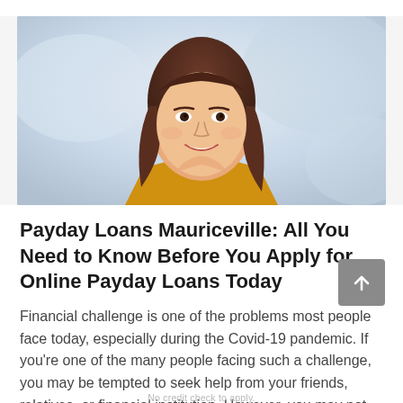[Figure (photo): Stock photo of a smiling young woman with brown wavy hair, wearing an orange/yellow top, resting her chin on her hands, bright blurred background]
Payday Loans Mauriceville: All You Need to Know Before You Apply for Online Payday Loans Today
Financial challenge is one of the problems most people face today, especially during the Covid-19 pandemic. If you're one of the many people facing such a challenge, you may be tempted to seek help from your friends, relatives, or financial institution. However, you may not